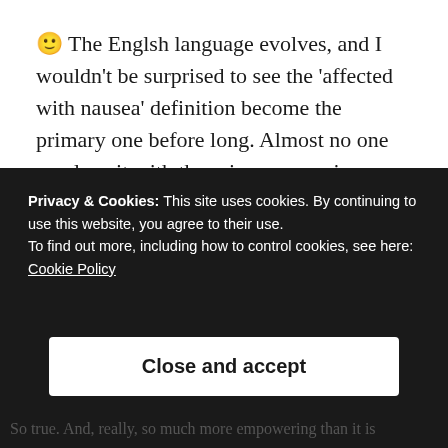🙂 The Englsh language evolves, and I wouldn't be surprised to see the 'affected with nausea' definition become the primary one before long. Almost no one employs it with the primary meaning; almost every time you see it, it's intended to convey the 'affected with nausea' meaning. It's probably a tiny fraction of your readers who really care about the distinction. I have the dubious distinction of being one of those.
Privacy & Cookies: This site uses cookies. By continuing to use this website, you agree to their use.
To find out more, including how to control cookies, see here:
Cookie Policy
Close and accept
So true. And, really, so much more empowering than it is